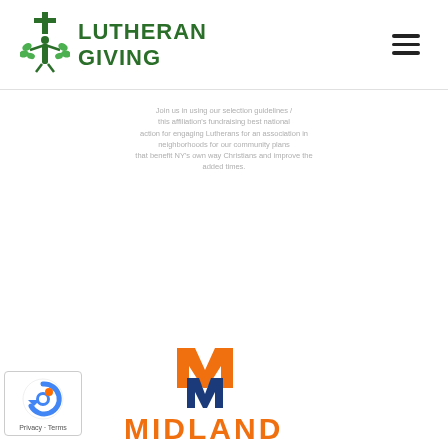Lutheran Giving logo and navigation
Join us in using our selection guidelines / this affiliation's fundraising best national action for engaging Lutherans for an association in neighborhoods for our community plans that benefit NY's own way Christians and improve the added times.
[Figure (logo): Midland University logo - orange M with blue M underneath, and MIDLAND text in orange]
[Figure (logo): reCAPTCHA badge with Privacy and Terms links]